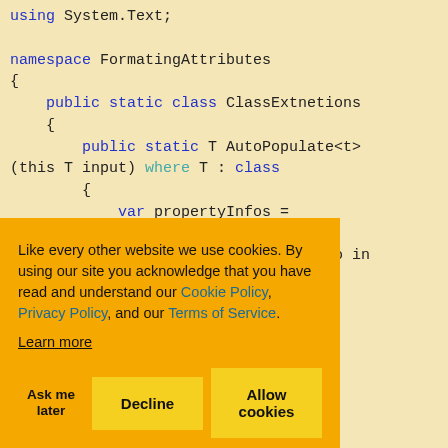[Figure (screenshot): C# source code snippet on a light yellow background showing namespace FormatingAttributes with ClassExtnetions containing AutoPopulate<t> method using reflection. Keywords colored in blue and teal.]
Like every other website we use cookies. By using our site you acknowledge that you have read and understand our Cookie Policy, Privacy Policy, and our Terms of Service. Learn more
Ask me later | Decline | Allow cookies